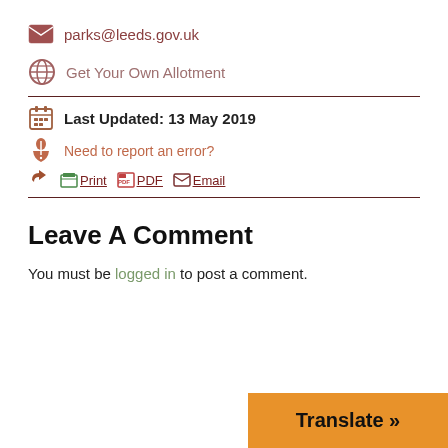parks@leeds.gov.uk
Get Your Own Allotment
Last Updated: 13 May 2019
Need to report an error?
Print  PDF  Email
Leave A Comment
You must be logged in to post a comment.
Translate »